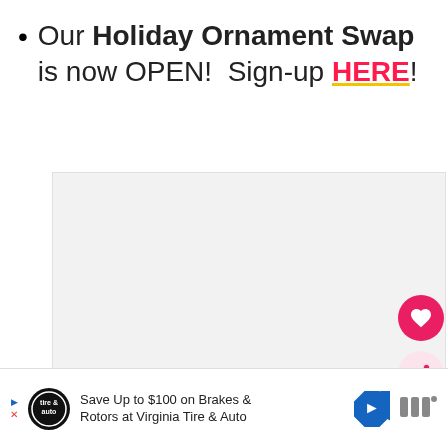Our Holiday Ornament Swap is now OPEN!  Sign-up HERE!
[Figure (photo): Light gray rectangular image placeholder with three small gray dots at the bottom center indicating a carousel]
[Figure (infographic): UI overlay: pink heart FAB button, pink share FAB button, and a 'What's Next' card showing 'Colorful DIY Sprinkle Lett...']
Save Up to $100 on Brakes & Rotors at Virginia Tire & Auto